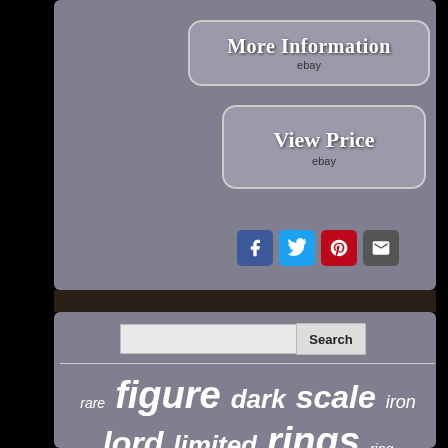[Figure (screenshot): eBay listing page screenshot showing two buttons: 'More Information' and 'View Price', both branded with 'ebay' text, on a grey background with social share icons (Facebook, Twitter, Pinterest, Email) below. Below a photo divider strip is a search bar and a tag cloud with words: rare, figure, dark, scale, iron, lord, limited, rings, ring, gimli, balrog, collectibles, legolas, premium, statue, polystone]
More Information
ebay
View Price
ebay
Search
rare figure dark scale iron lord limited rings ring gimli balrog collectibles legolas premium statue polystone